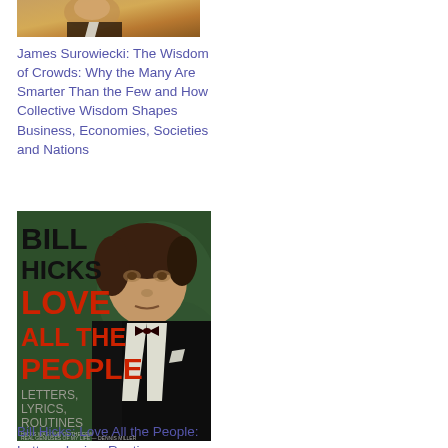[Figure (photo): Partial book cover image at top of page — The Wisdom of Crowds by James Surowiecki]
James Surowiecki: The Wisdom of Crowds: Why the Many Are Smarter Than the Few and How Collective Wisdom Shapes Business, Economies, Societies and Nations
[Figure (photo): Book cover of Bill Hicks: Love All the People: Letters, Lyrics, Routines — showing Bill Hicks in a tuxedo with bold title text in red and black on green background]
Bill Hicks: Love All the People: Letters, Lyrics, Routines